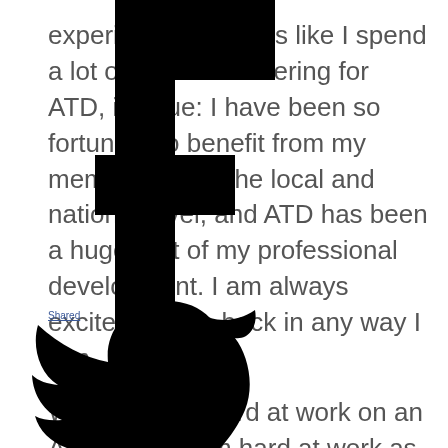experience... sounds like I spend a lot of time volunteering for ATD, it's true: I have been so fortunate to benefit from my membership at the local and national level, and ATD has been a huge part of my professional development. I am always excited to give back in any way I can.

When I'm not hard at work on an ATD project, I'm hard at work as the managing partner of Protos Learning, a consulting firm that I started in 2010. At Protos, I have the opportunity to partner with companies around the world to develop strategic solutions to their biggest talent development challenges. From revitalizing existing
[Figure (logo): Facebook logo (large black 'f' lettermark) overlaid on top of the text content]
[Figure (logo): Twitter bird logo (large black silhouette) overlaid on bottom-left portion of the text content]